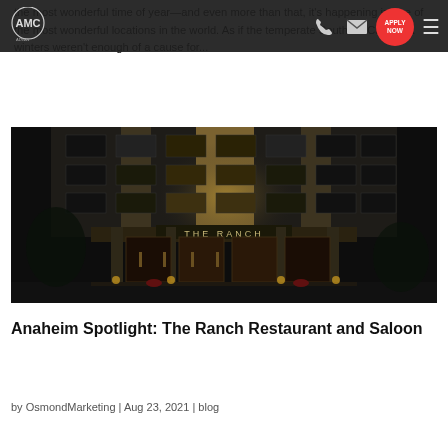AMC — Navigation bar with logo, phone icon, email icon, APPLY NOW button, and hamburger menu
the most wonderful time of year—and even more than that, it's happening in one of the most wonderful locations in the world. As if the temperate Southern California winters weren't enough of a cause for...
[Figure (photo): Nighttime exterior photograph of The Ranch restaurant building, illuminated with warm golden lights. The building facade shows 'THE RANCH' signage above the entrance. Multiple entrance doors are visible with columns and architectural lighting.]
Anaheim Spotlight: The Ranch Restaurant and Saloon
by OsmondMarketing | Aug 23, 2021 | blog